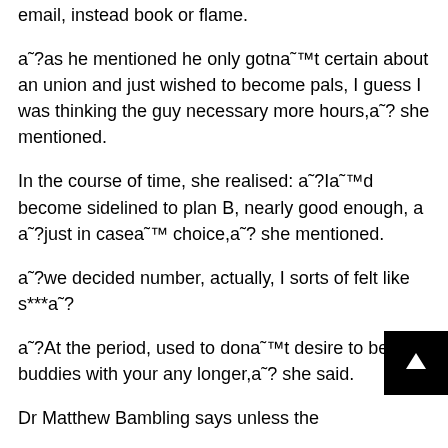email, instead book or flame.
a˜?as he mentioned he only gotna˜™t certain about an union and just wished to become pals, I guess I was thinking the guy necessary more hours,a˜? she mentioned.
In the course of time, she realised: a˜?Ia˜™d become sidelined to plan B, nearly good enough, a a˜?just in casea˜™ choice,a˜? she mentioned.
a˜?we decided number, actually, I sorts of felt like s***a˜?
a˜?At the period, used to dona˜™t desire to be buddies with your any longer,a˜? she said.
Dr Matthew Bambling says unless the